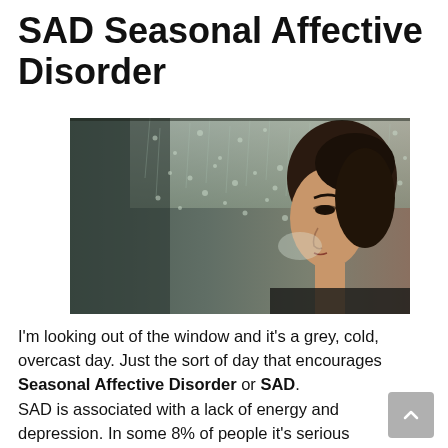SAD Seasonal Affective Disorder
[Figure (photo): A woman looking through a rain-covered window on a grey, cold, overcast day. Her face is visible in profile on the right side of the image, with condensation and raindrops on the glass in front of her.]
I'm looking out of the window and it's a grey, cold, overcast day. Just the sort of day that encourages Seasonal Affective Disorder or SAD.
SAD is associated with a lack of energy and depression. In some 8% of people it's serious enough to need treatment, but in many others it